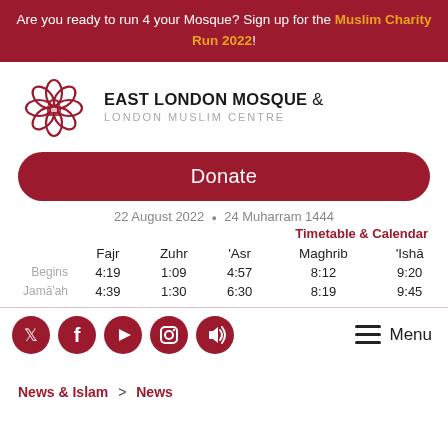Are you ready to run 4 your Mosque? Sign up for the Muslim Charity Run 2022!
[Figure (logo): East London Mosque & London Muslim Centre logo with flower/geometric pattern in dark red]
EAST LONDON MOSQUE & LONDON MUSLIM CENTRE
Donate
22 August 2022 • 24 Muharram 1444
Timetable & Calendar
|  | Fajr | Zuhr | 'Asr | Maghrib | 'Ishā |
| --- | --- | --- | --- | --- | --- |
| Begins | 4:19 | 1:09 | 4:57 | 8:12 | 9:20 |
| Jamā'ah | 4:39 | 1:30 | 6:30 | 8:19 | 9:45 |
[Figure (infographic): Row of 5 social media icon buttons (Twitter, Facebook, YouTube, Instagram, Audio/speaker) in dark red circles, and a hamburger Menu button]
News & Islam > News